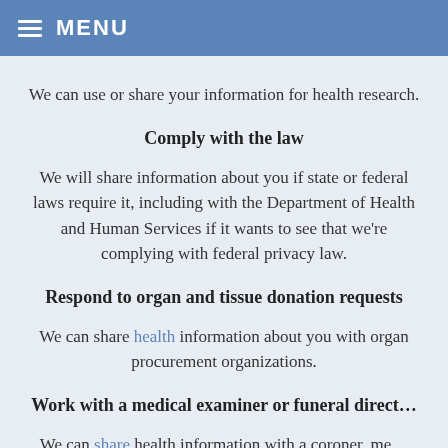MENU
We can use or share your information for health research.
Comply with the law
We will share information about you if state or federal laws require it, including with the Department of Health and Human Services if it wants to see that we’re complying with federal privacy law.
Respond to organ and tissue donation requests
We can share health information about you with organ procurement organizations.
Work with a medical examiner or funeral direct…
We can share health information with a coroner, me… examiner, or funeral director when an individual dis…